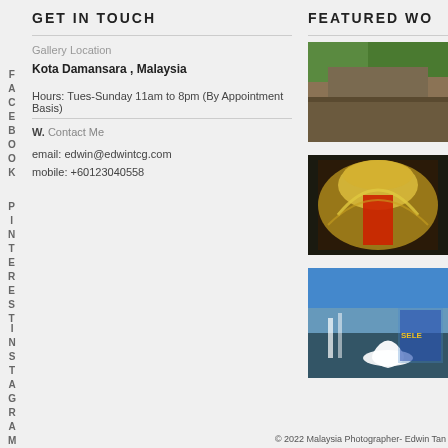GET IN TOUCH
Gallery Location
Kota Damansara , Malaysia
Hours: Tues-Sunday 11am to 8pm (By Appointment Basis)
W. Contact Me
email: edwin@edwintcg.com
mobile: +60123040558
FACEBOOK
PINTEREST
INSTAGRAM
FEATURED WO
[Figure (photo): Outdoor scene with trees and wall]
[Figure (photo): Golden ornate carousel or ceiling with red figure]
[Figure (photo): Wedding photo with bride in white dress near waterfall, magazine spread]
© 2022 Malaysia Photographer- Edwin Tan